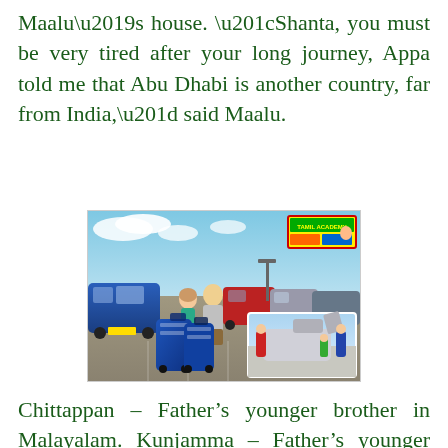Maalu’s house. “Shanta, you must be very tired after your long journey, Appa told me that Abu Dhabi is another country, far from India,” said Maalu.
[Figure (photo): A photo of two people with large blue suitcases standing in a parking lot filled with cars. There is a billboard in the upper right corner. An inset photo shows people loading luggage into a car.]
Chittappan – Father’s younger brother in Malayalam. Kunjamma – Father’s younger brother’s wife in Malayalam. “We are not